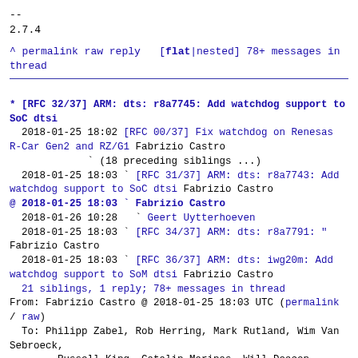--
2.7.4
^ permalink raw reply   [flat|nested] 78+ messages in thread
* [RFC 32/37] ARM: dts: r8a7745: Add watchdog support to SoC dtsi
  2018-01-25 18:02 [RFC 00/37] Fix watchdog on Renesas R-Car Gen2 and RZ/G1 Fabrizio Castro
             ` (18 preceding siblings ...)
  2018-01-25 18:03 ` [RFC 31/37] ARM: dts: r8a7743: Add watchdog support to SoC dtsi Fabrizio Castro
@ 2018-01-25 18:03 ` Fabrizio Castro
  2018-01-26 10:28   ` Geert Uytterhoeven
  2018-01-25 18:03 ` [RFC 34/37] ARM: dts: r8a7791: " Fabrizio Castro
  2018-01-25 18:03 ` [RFC 36/37] ARM: dts: iwg20m: Add watchdog support to SoM dtsi Fabrizio Castro
  21 siblings, 1 reply; 78+ messages in thread
From: Fabrizio Castro @ 2018-01-25 18:03 UTC (permalink / raw)
  To: Philipp Zabel, Rob Herring, Mark Rutland, Wim Van Sebroeck,
        Russell King, Catalin Marinas, Will Deacon, Michael Turquette,
        Stephen Boyd, Simon Horman, Magnus Damm, Geert Uytterhoeven